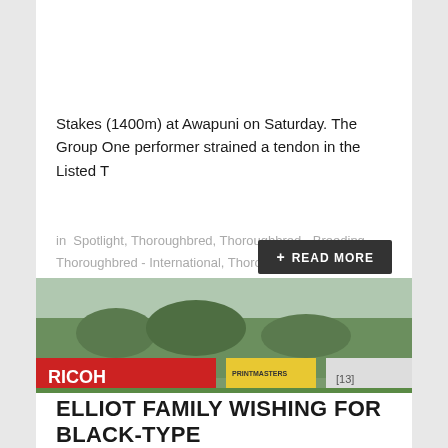Stakes (1400m) at Awapuni on Saturday. The Group One performer strained a tendon in the Listed T
in  Spotlight, Thoroughbred, Thoroughbred - Breeding, Thoroughbred - International, Thoroughbred Sales
+ READ MORE
[Figure (photo): Horse racing photo showing two jockeys on black and brown horses racing on a grass track. Jockey in orange and white silks on horse number 9. RICOH advertising banner visible in background.]
ELLIOT FAMILY WISHING FOR BLACK-TYPE